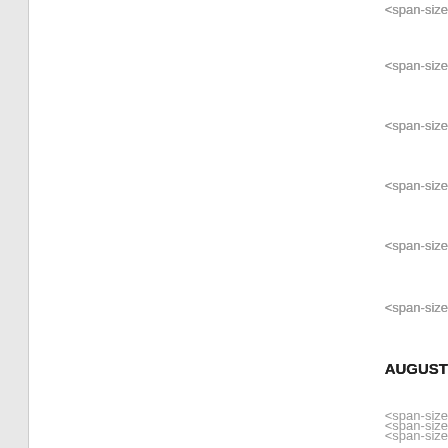<span-size
<span-size
<span-size
<span-size
<span-size
<span-size
AUGUST
<span-size
<span-size
<span-size
<span-size
<span-size
<span-size
<span-size
<span-size
<span-size
<span-size